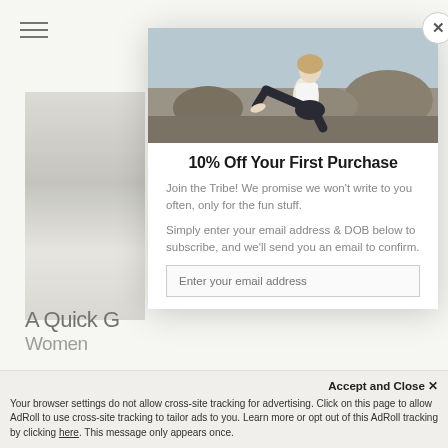[Figure (screenshot): Website screenshot showing a modal popup for a yoga/activewear brand offering 10% off first purchase, overlaid on a page with a left beach photo panel and title text. A cookie consent bar appears at the bottom.]
10% Off Your First Purchase
Join the Tribe! We promise we won’t write to you often, only for the fun stuff.
Simply enter your email address & DOB below to subscribe, and we’ll send you an email to confirm.
Enter your email address
Accept and Close ×
Your browser settings do not allow cross-site tracking for advertising. Click on this page to allow AdRoll to use cross-site tracking to tailor ads to you. Learn more or opt out of this AdRoll tracking by clicking here. This message only appears once.